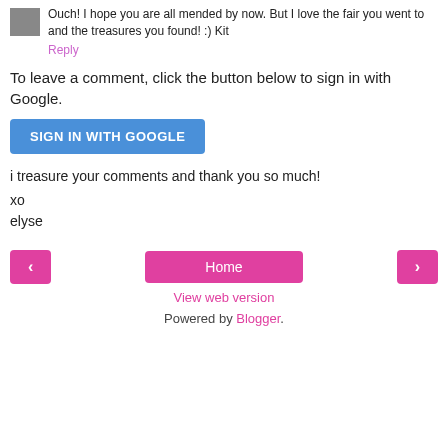Ouch! I hope you are all mended by now. But I love the fair you went to and the treasures you found! :) Kit
Reply
To leave a comment, click the button below to sign in with Google.
SIGN IN WITH GOOGLE
i treasure your comments and thank you so much!
xo
elyse
‹
Home
›
View web version
Powered by Blogger.